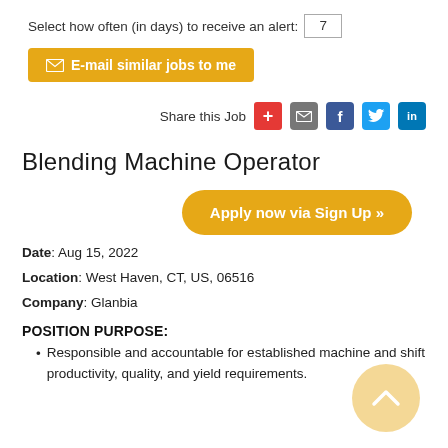Select how often (in days) to receive an alert: 7
✉ E-mail similar jobs to me
Share this Job
Blending Machine Operator
Apply now via Sign Up »
Date: Aug 15, 2022
Location: West Haven, CT, US, 06516
Company: Glanbia
POSITION PURPOSE:
Responsible and accountable for established machine and shift productivity, quality, and yield requirements.